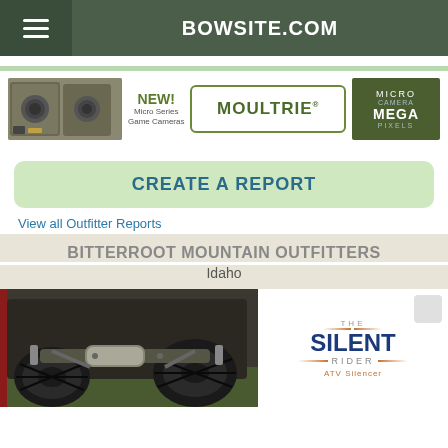BOWSITE.COM
[Figure (screenshot): Moultrie Micro Series Game Cameras advertisement banner with camera photos, NEW! text, Moultrie logo, and MICRO CAMERA MEGA PIXELS badge]
CREATE A REPORT
View all Outfitter Reports
BITTERROOT MOUNTAIN OUTFITTERS
Idaho
[Figure (photo): ATV undercarriage photo showing large tires and exhaust system on grass]
[Figure (logo): The Silent Rider ATV Silencer logo advertisement]